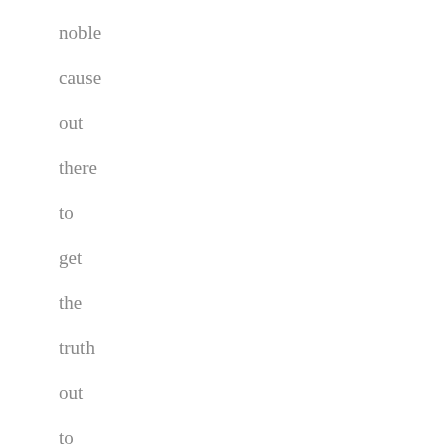noble cause out there to get the truth out to the masses. That it's about responsibility. That it self-corrects. Because let's be